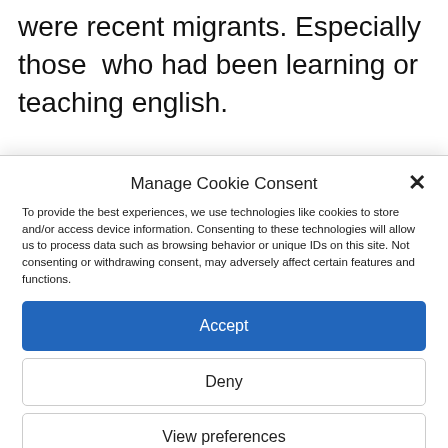were recent migrants. Especially those  who had been learning or teaching english.
Manage Cookie Consent
To provide the best experiences, we use technologies like cookies to store and/or access device information. Consenting to these technologies will allow us to process data such as browsing behavior or unique IDs on this site. Not consenting or withdrawing consent, may adversely affect certain features and functions.
Accept
Deny
View preferences
Cookie Policy   Privacy Policy